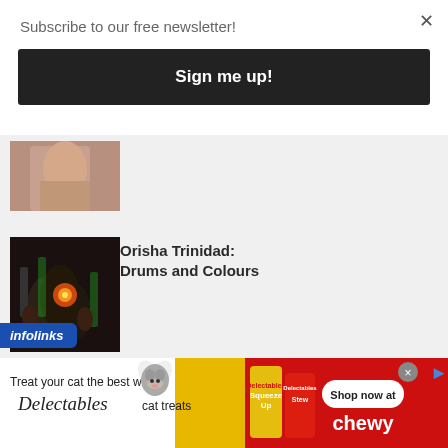Subscribe to our free newsletter!
Sign me up!
[Figure (photo): Partial photo of a person, cropped, warm skin tones]
[Figure (photo): Dark indoor photo of people with drums and fire, Orisha Trinidad drums and colours]
Orisha Trinidad: Drums and Colours
infolinks
[Figure (photo): Advertisement banner: Treat your cat the best with Delectables cat treats. Shows a cat in a heart shape, product images, and Shop now at Chewy.]